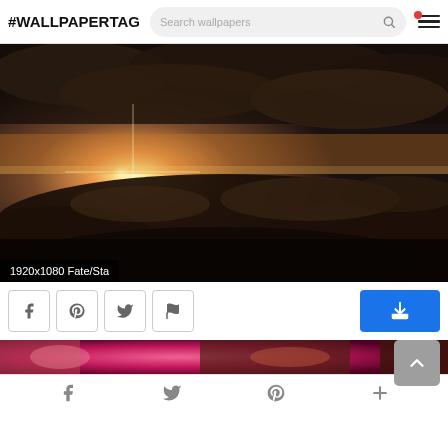#WALLPAPERTAG  Search wallpapers [menu]
[Figure (photo): Aerial view of a dramatic sunset above clouds, with bright sun rays and dark cloud formations. Moody fantasy-style wallpaper.]
1920x1080 Fate/Sta
[Figure (other): Action row with Facebook, Pinterest, Twitter, Flag icon buttons on the left, blue download button on the right, and grey back-to-top button]
[Figure (photo): Partial thumbnail strip of another wallpaper showing pink/red tones]
f  Twitter  P  +